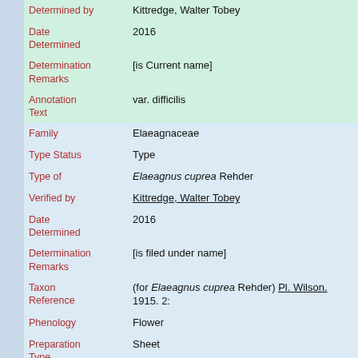| Field | Value |
| --- | --- |
| Determined by | Kittredge, Walter Tobey |
| Date Determined | 2016 |
| Determination Remarks | [is Current name] |
| Annotation Text | var. difficilis |
| Family | Elaeagnaceae |
| Type Status | Type |
| Type of | Elaeagnus cuprea Rehder |
| Verified by | Kittredge, Walter Tobey |
| Date Determined | 2016 |
| Determination Remarks | [is filed under name] |
| Taxon Reference | (for Elaeagnus cuprea Rehder) Pl. Wilson. 1915. 2: |
| Phenology | Flower |
| Preparation Type | Sheet |
| Preparation Method | Pressed |
| Organism/Item | 3 of 3 |